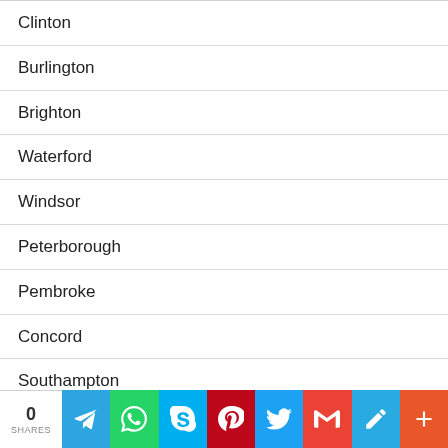Clinton
Burlington
Brighton
Waterford
Windsor
Peterborough
Pembroke
Concord
Southampton
Essex
0 SHARES  [social share buttons: Telegram, WhatsApp, Skype, Pinterest, Twitter, Gmail, Pencil, More]